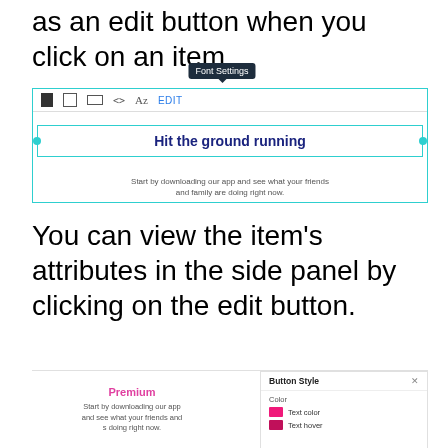as an edit button when you click on an item.
[Figure (screenshot): Screenshot of a web editor toolbar showing Font Settings tooltip above icons (filled square, document, frame, code, Az, EDIT), with a selected element showing 'Hit the ground running' headline in a blue-bordered box with cyan drag handles, and subtext 'Start by downloading our app and see what your friends and family are doing right now.']
You can view the item's attributes in the side panel by clicking on the edit button.
[Figure (screenshot): Screenshot of web editor showing a 'Premium' section with subtext and a 'Button Style' side panel with Color section showing 'Text color' (pink swatch) and 'Text hover' (dark pink swatch).]